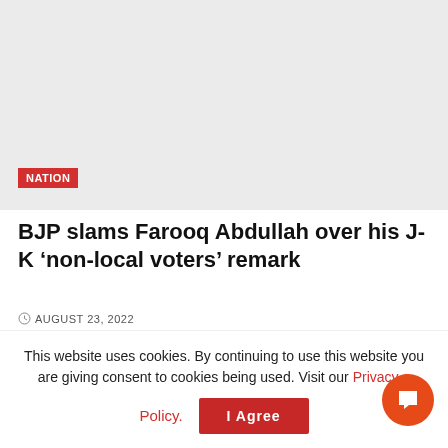[Figure (photo): Light grey placeholder image area for article hero image]
NATION
BJP slams Farooq Abdullah over his J-K ‘non-local voters’ remark
AUGUST 23, 2022
[Figure (other): Advertisement bar placeholder]
This website uses cookies. By continuing to use this website you are giving consent to cookies being used. Visit our Privacy and Cookie Policy.
I Agree